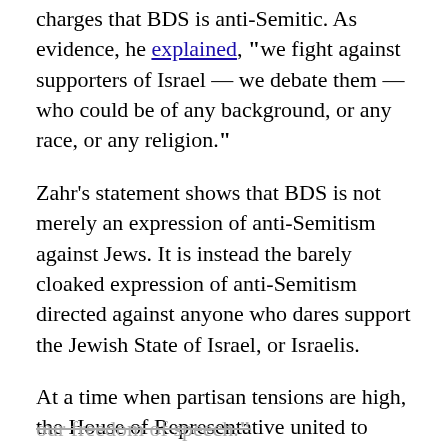charges that BDS is anti-Semitic. As evidence, he explained, "we fight against supporters of Israel — we debate them — who could be of any background, or any race, or any religion."
Zahr's statement shows that BDS is not merely an expression of anti-Semitism against Jews. It is instead the barely cloaked expression of anti-Semitism directed against anyone who dares support the Jewish State of Israel, or Israelis.
At a time when partisan tensions are high, the House of Representative united to condemn BDS. When she opposed H.R. 246, Tlaib called the resolution an "attack on our freedom of speech."